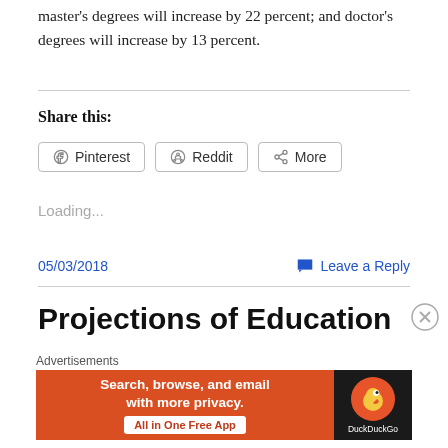master's degrees will increase by 22 percent; and doctor's degrees will increase by 13 percent.
Share this:
[Figure (screenshot): Social share buttons: Pinterest, Reddit, More]
Loading...
05/03/2018
Leave a Reply
Projections of Education
[Figure (screenshot): DuckDuckGo advertisement banner: Search, browse, and email with more privacy. All in One Free App]